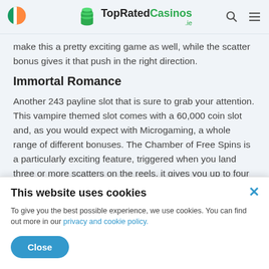TopRatedCasinos.ie
make this a pretty exciting game as well, while the scatter bonus gives it that push in the right direction.
Immortal Romance
Another 243 payline slot that is sure to grab your attention. This vampire themed slot comes with a 60,000 coin slot and, as you would expect with Microgaming, a whole range of different bonuses. The Chamber of Free Spins is a particularly exciting feature, triggered when you land three or more scatters on the reels, it gives you up to four
This website uses cookies
To give you the best possible experience, we use cookies. You can find out more in our privacy and cookie policy.
Close